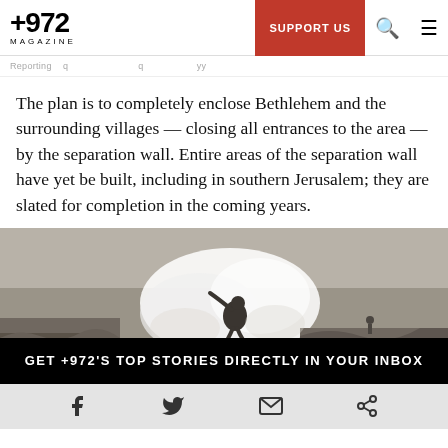+972 MAGAZINE — SUPPORT US
The plan is to completely enclose Bethlehem and the surrounding villages — closing all entrances to the area — by the separation wall. Entire areas of the separation wall have yet be built, including in southern Jerusalem; they are slated for completion in the coming years.
[Figure (photo): Black and white photograph of a person throwing something amid smoke or dust in an outdoor rocky landscape, with another figure visible in the background.]
GET +972'S TOP STORIES DIRECTLY IN YOUR INBOX
Social media icons: Facebook, Twitter, Email, Share